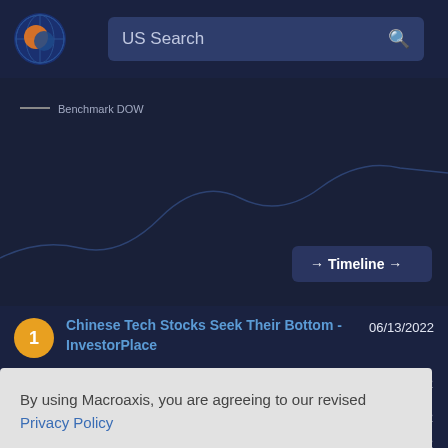[Figure (logo): Macroaxis circular logo with globe and orange/blue colors]
US Search
Benchmark DOW
→ Timeline →
Chinese Tech Stocks Seek Their Bottom - InvestorPlace   06/13/2022
2022
2022
2022
By using Macroaxis, you are agreeing to our revised Privacy Policy
OK